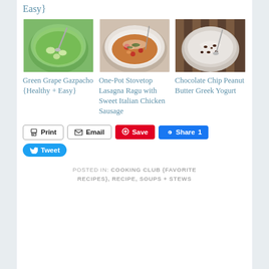Easy}
[Figure (photo): Green gazpacho soup in a bowl with cucumber pieces and a spoon]
Green Grape Gazpacho {Healthy + Easy}
[Figure (photo): One-pot pasta dish with sausage, tomatoes, and spinach in a white bowl]
One-Pot Stovetop Lasagna Ragu with Sweet Italian Chicken Sausage
[Figure (photo): Chocolate chip peanut butter Greek yogurt in a bowl with a spoon on a striped background]
Chocolate Chip Peanut Butter Greek Yogurt
Print  Email  Save  Share 1  Tweet
POSTED IN: COOKING CLUB {FAVORITE RECIPES}, RECIPE, SOUPS + STEWS